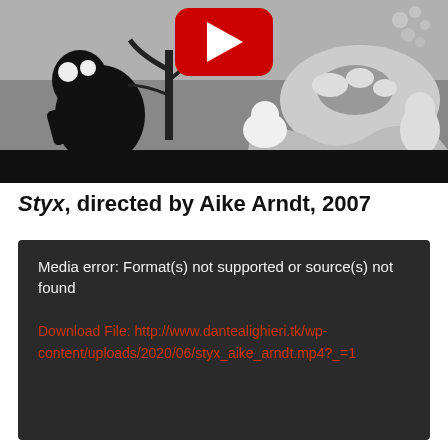[Figure (screenshot): A black and white animated cartoon screenshot showing dark creature silhouettes and animated characters, with a YouTube play button (red with white triangle) overlaid in the upper center. The image has a black letterbox bar at the bottom.]
Styx, directed by Aike Arndt, 2007
[Figure (screenshot): Dark gray/black media player error box showing: 'Media error: Format(s) not supported or source(s) not found' in white text, followed by a red link 'Download File: http://www.dantealighieri.tk/wp-content/uploads/2020/06/styx_aike_arndt.mp4?_=1']